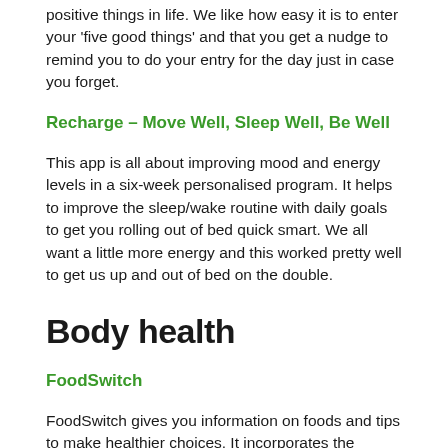positive things in life. We like how easy it is to enter your 'five good things' and that you get a nudge to remind you to do your entry for the day just in case you forget.
Recharge – Move Well, Sleep Well, Be Well
This app is all about improving mood and energy levels in a six-week personalised program. It helps to improve the sleep/wake routine with daily goals to get you rolling out of bed quick smart. We all want a little more energy and this worked pretty well to get us up and out of bed on the double.
Body health
FoodSwitch
FoodSwitch gives you information on foods and tips to make healthier choices. It incorporates the Health Star Rating system and traffic light labels. We like that it helps you pick healthier versions of prepackaged foods with ease. You can also decide what you want to focus on – salt, energy, fat or